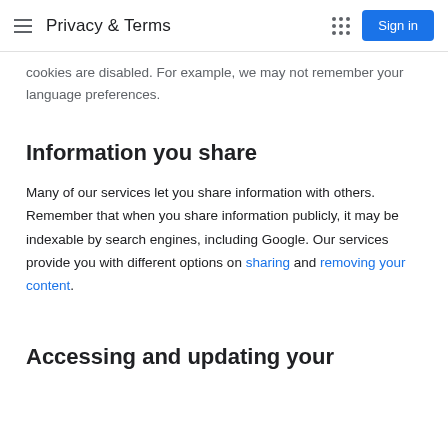Privacy & Terms
cookies are disabled. For example, we may not remember your language preferences.
Information you share
Many of our services let you share information with others. Remember that when you share information publicly, it may be indexable by search engines, including Google. Our services provide you with different options on sharing and removing your content.
Accessing and updating your